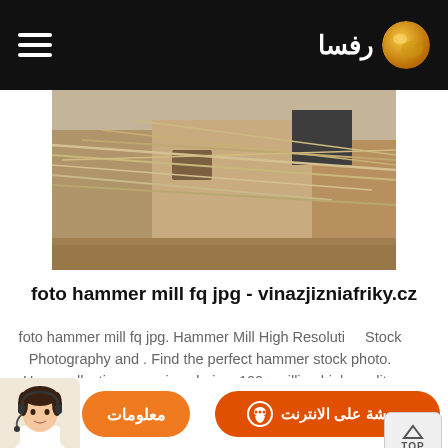رفسا (logo)
[Figure (photo): Photograph of a building exterior with ropes or cables strung across it, dusty/sandy environment]
foto hammer mill fq jpg - vinazjizniafriky.cz
foto hammer mill fq jpg. Hammer Mill High Resolution Stock Photography and . Find the perfect hammer stock photo. Huge collection, amazing choice, 100+ million high quality, affordable RF and RM images. No need to register, buy now! Hammer Mill Photos and Premium High Res Pictures -
[Figure (infographic): Bottom bar with customer service representative image, chat button (دردشة على الانترنت) and info button (معلومات)]